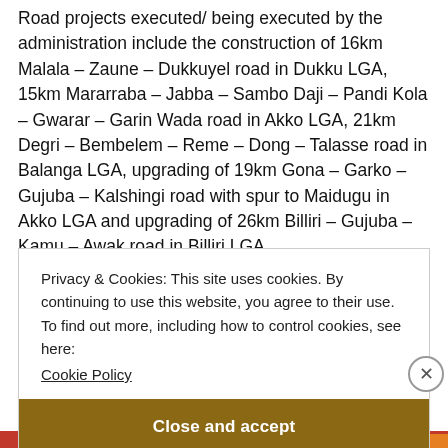Road projects executed/ being executed by the administration include the construction of 16km Malala – Zaune – Dukkuyel road in Dukku LGA, 15km Mararraba – Jabba – Sambo Daji – Pandi Kola – Gwarar – Garin Wada road in Akko LGA, 21km Degri – Bembelem – Reme – Dong – Talasse road in Balanga LGA, upgrading of 19km Gona – Garko – Gujuba – Kalshingi road with spur to Maidugu in Akko LGA and upgrading of 26km Billiri – Gujuba – Kamu – Awak road in Billiri LGA
Privacy & Cookies: This site uses cookies. By continuing to use this website, you agree to their use.
To find out more, including how to control cookies, see here: Cookie Policy
Close and accept